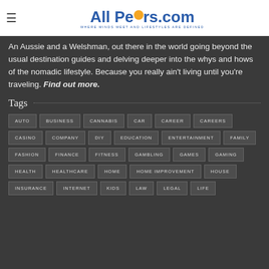AllPeers.com — WHERE MINDS MEET AND LIFESTYLES ARE DEFINED
An Aussie and a Welshman, out there in the world going beyond the usual destination guides and delving deeper into the whys and hows of the nomadic lifestyle. Because you really ain't living until you're traveling. Find out more.
Tags
AUTO
BUSINESS
CANNABIS
CAR
CAREER
CAREERS
CASINO
COMPANY
DIY
EDUCATION
ENTERTAINMENT
FAMILY
FASHION
FINANCE
FITNESS
GAMBLING
GAMES
GAMING
HEALTH
HEALTHCARE
HOME
HOME IMPROVEMENT
HOUSE
INSURANCE
INTERNET
KIDS
LAW
LEGAL
LIFE